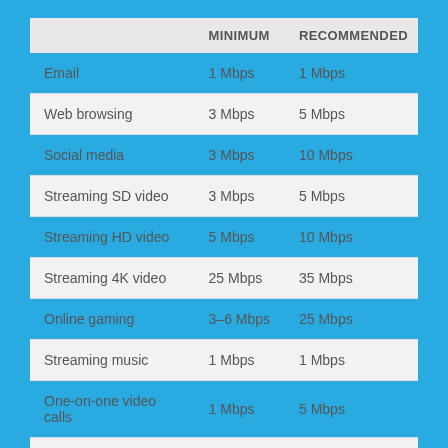|  | MINIMUM | RECOMMENDED |
| --- | --- | --- |
| Email | 1 Mbps | 1 Mbps |
| Web browsing | 3 Mbps | 5 Mbps |
| Social media | 3 Mbps | 10 Mbps |
| Streaming SD video | 3 Mbps | 5 Mbps |
| Streaming HD video | 5 Mbps | 10 Mbps |
| Streaming 4K video | 25 Mbps | 35 Mbps |
| Online gaming | 3–6 Mbps | 25 Mbps |
| Streaming music | 1 Mbps | 1 Mbps |
| One-on-one video calls | 1 Mbps | 5 Mbps |
| Video conference calls | 2 Mbps | 10 Mbps |